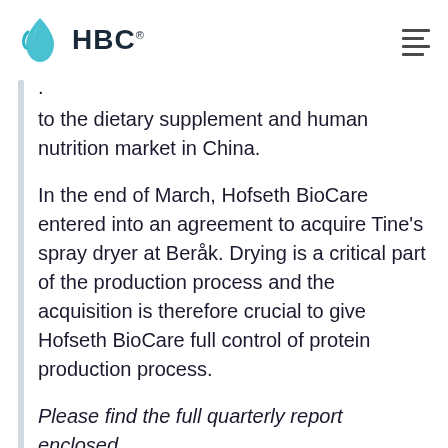HBC®
to the dietary supplement and human nutrition market in China.
In the end of March, Hofseth BioCare entered into an agreement to acquire Tine's spray dryer at Beråk. Drying is a critical part of the production process and the acquisition is therefore crucial to give Hofseth BioCare full control of protein production process.
Please find the full quarterly report enclosed.